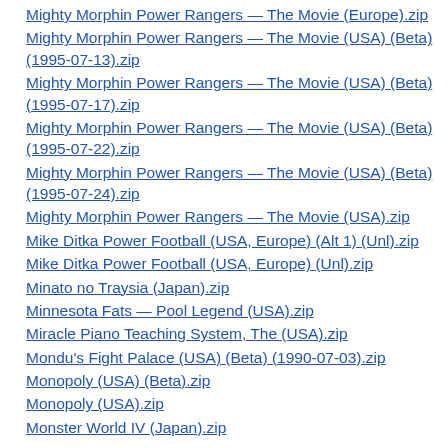Mighty Morphin Power Rangers — The Movie (Europe).zip
Mighty Morphin Power Rangers — The Movie (USA) (Beta) (1995-07-13).zip
Mighty Morphin Power Rangers — The Movie (USA) (Beta) (1995-07-17).zip
Mighty Morphin Power Rangers — The Movie (USA) (Beta) (1995-07-22).zip
Mighty Morphin Power Rangers — The Movie (USA) (Beta) (1995-07-24).zip
Mighty Morphin Power Rangers — The Movie (USA).zip
Mike Ditka Power Football (USA, Europe) (Alt 1) (Unl).zip
Mike Ditka Power Football (USA, Europe) (Unl).zip
Minato no Traysia (Japan).zip
Minnesota Fats — Pool Legend (USA).zip
Miracle Piano Teaching System, The (USA).zip
Mondu's Fight Palace (USA) (Beta) (1990-07-03).zip
Monopoly (USA) (Beta).zip
Monopoly (USA).zip
Monster World IV (Japan).zip